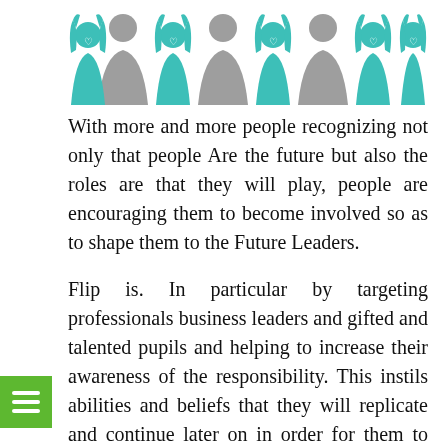[Figure (illustration): Illustration of stylized human figures (teal and grey) with raised hands forming a group, with heart symbols on their chests, representing people/community]
With more and more people recognizing not only that people Are the future but also the roles are that they will play, people are encouraging them to become involved so as to shape them to the Future Leaders.
Flip is. In particular by targeting professionals business leaders and gifted and talented pupils and helping to increase their awareness of the responsibility. This instils abilities and beliefs that they will replicate and continue later on in order for them to help shape a better future. They also encourage the young people to become involved in tropical and charitable ving and hence become more sensitive and aware of these two things. Along with this they